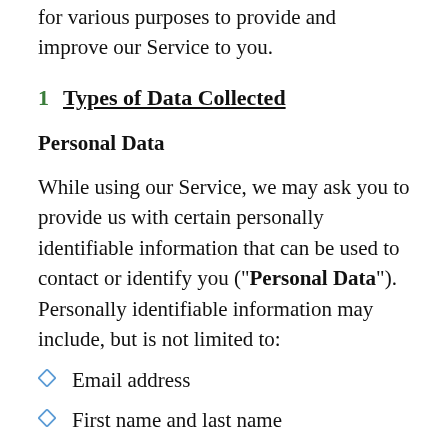for various purposes to provide and improve our Service to you.
1  Types of Data Collected
Personal Data
While using our Service, we may ask you to provide us with certain personally identifiable information that can be used to contact or identify you (“Personal Data”). Personally identifiable information may include, but is not limited to:
Email address
First name and last name